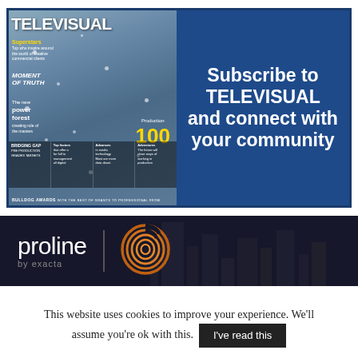[Figure (illustration): Televisual magazine subscription advertisement with magazine cover showing a woman and blue panel with subscription text. Left side shows Televisual magazine cover with a blonde woman in winter setting with snow effects, headlines including 'Superstar', 'Moment of Truth', 'Production 100', 'Bulldog Awards'. Right side is a dark blue panel with white bold text.]
Subscribe to TELEVISUAL and connect with your community
[Figure (logo): Proline by exacta logo banner on dark background. White sans-serif text 'proline' in large letters, smaller text 'by exacta', vertical divider, and an orange fingerprint/swirl logo graphic.]
This website uses cookies to improve your experience. We'll assume you're ok with this.
I've read this